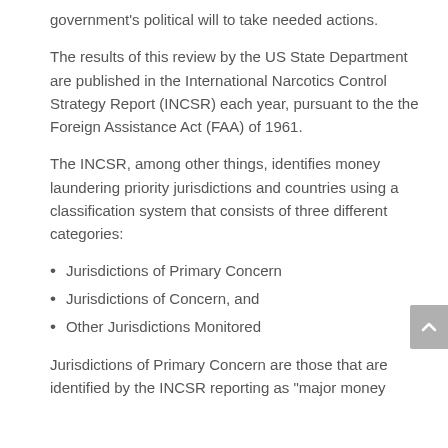government's political will to take needed actions.
The results of this review by the US State Department are published in the International Narcotics Control Strategy Report (INCSR) each year, pursuant to the the Foreign Assistance Act (FAA) of 1961.
The INCSR, among other things, identifies money laundering priority jurisdictions and countries using a classification system that consists of three different categories:
Jurisdictions of Primary Concern
Jurisdictions of Concern, and
Other Jurisdictions Monitored
Jurisdictions of Primary Concern are those that are identified by the INCSR reporting as “major money